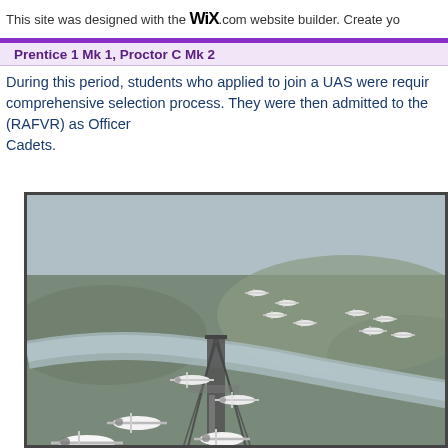This site was designed with the WiX.com website builder. Create yo
Prentice 1 Mk 1, Proctor C Mk 2
During this period, students who applied to join a UAS were required to undergo a comprehensive selection process. They were then admitted to the (RAFVR) as Officer Cadets.
[Figure (photo): Black and white aerial photograph showing multiple propeller aircraft (likely Prentice trainers) flying in formation over a landscape with a bridge and river or estuary visible below.]